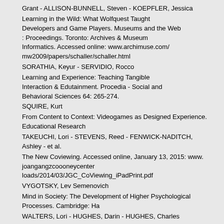Grant - ALLISON-BUNNELL, Steven - KOEPFLER, Jessica
Learning in the Wild: What Wolfquest Taught Developers and Game Players. Museums and the Web : Proceedings. Toronto: Archives & Museum Informatics. Accessed online: www.archimuse.com/ mw2009/papers/schaller/schaller.html
SORATHIA, Keyur - SERVIDIO, Rocco
Learning and Experience: Teaching Tangible Interaction & Edutainment. Procedia - Social and Behavioral Sciences 64: 265-274.
SQUIRE, Kurt
From Content to Context: Videogames as Designed Experience. Educational Research…
TAKEUCHI, Lori - STEVENS, Reed - FENWICK-NADITCH, Ashley - et al.
The New Coviewing. Accessed online, January 13, 2015: www. joanganzcoooneycenter… loads/2014/03/JGC_CoViewing_iPadPrint.pdf
VYGOTSKY, Lev Semenovich
Mind in Society: The Development of Higher Psychological Processes. Cambridge: Ha…
WALTERS, Lori - HUGHES, Darin - HUGHES, Charles
Interconnections: Revisiting the Future. Games and Culture 6(6): 538-559.